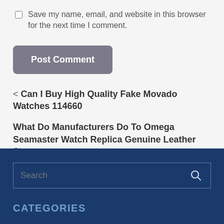Save my name, email, and website in this browser for the next time I comment.
Post Comment
< Can I Buy High Quality Fake Movado Watches 114660
What Do Manufacturers Do To Omega Seamaster Watch Replica Genuine Leather Strap >
Search
CATEGORIES